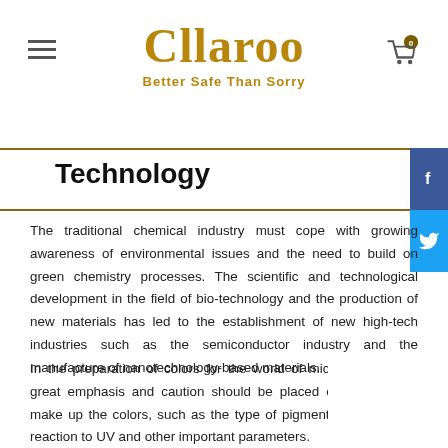Cllaroo — Better Safe Than Sorry
Technology
The traditional chemical industry must cope with growing awareness of environmental issues and the need to build on green chemistry processes. The scientific and technological development in the field of bio-technology and the production of new materials has led to the establishment of new high-tech industries such as the semiconductor industry and the manufacture of nanotechnology-based materials.
In the preparation of colors for the world of micropigmentation great emphasis and caution should be placed on the pa that make up the colors, such as the type of pigment, its nature, its reaction to UV and other important parameters.